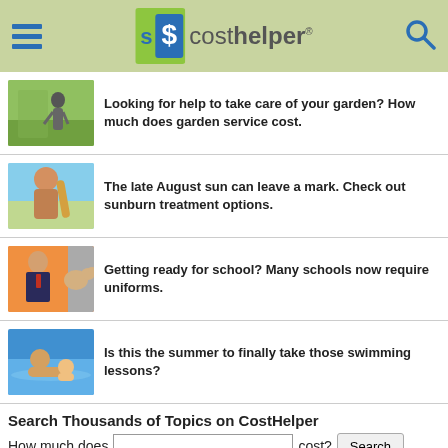CostHelper logo and navigation header
Looking for help to take care of your garden? How much does garden service cost.
The late August sun can leave a mark. Check out sunburn treatment options.
Getting ready for school? Many schools now require uniforms.
Is this the summer to finally take those swimming lessons?
Search Thousands of Topics on CostHelper
How much does [input] cost? Search
CostHelper > Schools & Job Training > Master's Degree in Public